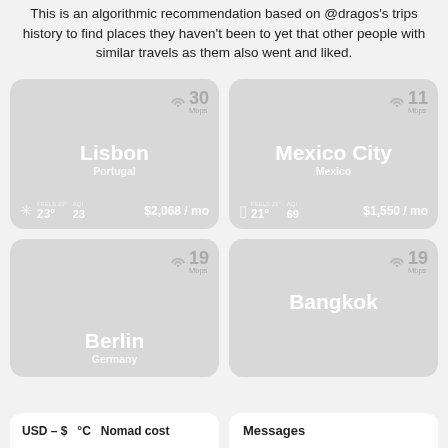This is an algorithmic recommendation based on @dragos's trips history to find places they haven't been to yet that other people with similar travels as them also went and liked.
[Figure (infographic): City card for Lisbon, Portugal. Shows WiFi speed: 30 Mbps. Temperature: 23° (feels 23°). AQI: 23. Cost: $2,068 / mo. Snowflake/sun weather icon.]
[Figure (infographic): City card for Mexico City, Mexico. Shows WiFi speed: 11 Mbps. Temperature: 21° (feels 21°). AQI: 69. Cost: $1,550 / mo. Partly cloudy weather icon.]
[Figure (infographic): City card for Berlin, Germany. Shows WiFi speed: 19 Mbps. Partially visible at bottom of page.]
[Figure (infographic): City card for Bangkok. Shows WiFi speed: 19 Mbps. Partially visible at bottom of page.]
USD – $ °C Nomad cost
Messages